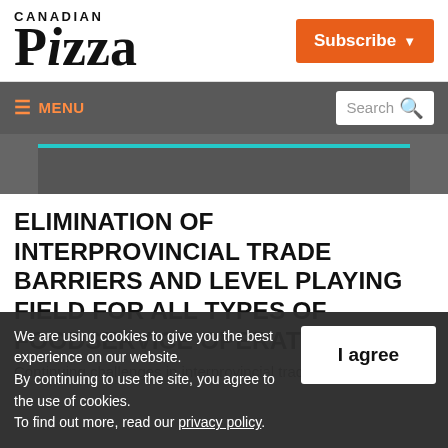[Figure (logo): Canadian Pizza magazine logo — 'CANADIAN' in small caps above large serif 'Pizza' text]
Subscribe ▾
≡ MENU  Search 🔍
[Figure (screenshot): Dark grey banner area with teal underline tab element]
ELIMINATION OF INTERPROVINCIAL TRADE BARRIERS AND LEVEL PLAYING FIELD FOR ALL TYPES OF FOODSERVICE OPERATIONS
Continuing challenges in interprovincial trade for the food and...
We are using cookies to give you the best experience on our website.
By continuing to use the site, you agree to the use of cookies.
To find out more, read our privacy policy.
I agree